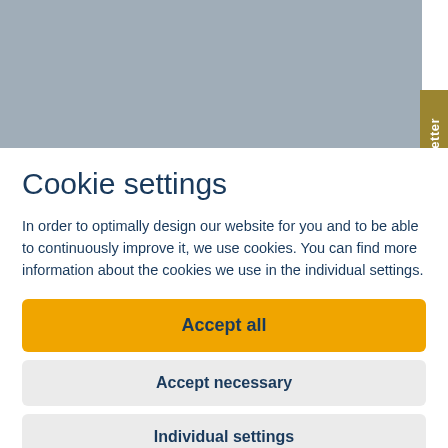[Figure (screenshot): Grey header background area with a gold/dark-yellow vertical 'Newsletter' tab on the right side]
Cookie settings
In order to optimally design our website for you and to be able to continuously improve it, we use cookies. You can find more information about the cookies we use in the individual settings.
Accept all
Accept necessary
Individual settings